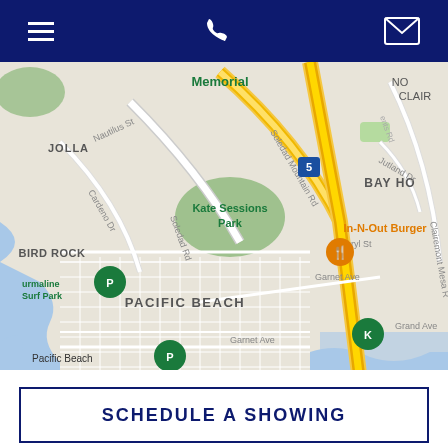Navigation bar with hamburger menu, phone icon, and email icon
[Figure (map): Google Maps screenshot showing Pacific Beach / La Jolla area of San Diego, CA. Visible landmarks include Kate Sessions Park, Bird Rock, Turmaline Surf Park, Pacific Beach, BAY HO, In-N-Out Burger, Interstate 5, Soledad Mountain Rd, Soledad Rd, Cardeno Dr, Beryl St, Garnet Ave, Grand Ave, Nautilus St, Jutland Dr, Clairemont Mesa Rd, and Memorial label at top.]
SCHEDULE A SHOWING